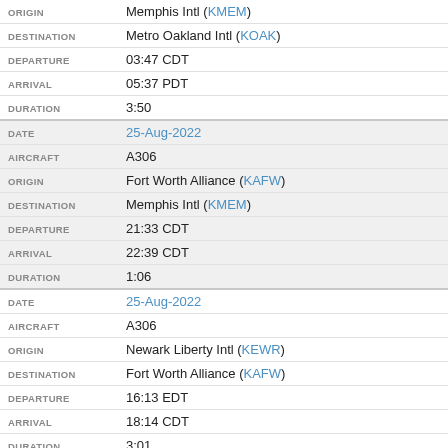| Field | Value |
| --- | --- |
| ORIGIN | Memphis Intl (KMEM) |
| DESTINATION | Metro Oakland Intl (KOAK) |
| DEPARTURE | 03:47 CDT |
| ARRIVAL | 05:37 PDT |
| DURATION | 3:50 |
| DATE | 25-Aug-2022 |
| AIRCRAFT | A306 |
| ORIGIN | Fort Worth Alliance (KAFW) |
| DESTINATION | Memphis Intl (KMEM) |
| DEPARTURE | 21:33 CDT |
| ARRIVAL | 22:39 CDT |
| DURATION | 1:06 |
| DATE | 25-Aug-2022 |
| AIRCRAFT | A306 |
| ORIGIN | Newark Liberty Intl (KEWR) |
| DESTINATION | Fort Worth Alliance (KAFW) |
| DEPARTURE | 16:13 EDT |
| ARRIVAL | 18:14 CDT |
| DURATION | 3:01 |
| DATE | 25-Aug-2022 |